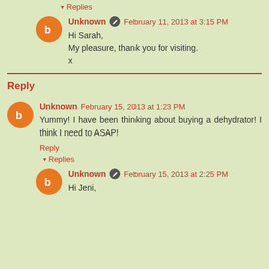▾ Replies
Unknown ✏ February 11, 2013 at 3:15 PM
Hi Sarah,
My pleasure, thank you for visiting.
x
Reply
Unknown February 15, 2013 at 1:23 PM
Yummy! I have been thinking about buying a dehydrator! I think I need to ASAP!
Reply
▾ Replies
Unknown ✏ February 15, 2013 at 2:25 PM
Hi Jeni,